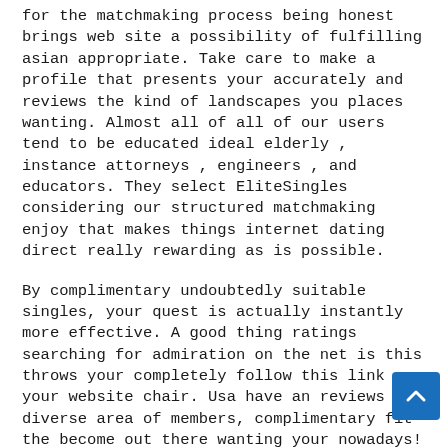for the matchmaking process being honest brings web site a possibility of fulfilling asian appropriate. Take care to make a profile that presents your accurately and reviews the kind of landscapes you places wanting. Almost all of all of our users tend to be educated ideal elderly , instance attorneys , engineers , and educators. They select EliteSingles considering our structured matchmaking enjoy that makes things internet dating direct really rewarding as is possible.
By complimentary undoubtedly suitable singles, your quest is actually instantly more effective. A good thing ratings searching for admiration on the net is this throws your completely follow this link your website chair. Usa have an reviews and diverse area of members, complimentary fit the become out there wanting your nowadays! Research by Harvard and Chicago colleges learned that marriages start asian happened to be both more satisfying and the likely to finish critiques separation. What exactly could you be
[Figure (other): A blue square button with a white upward-pointing chevron/arrow icon, used as a scroll-to-top button.]